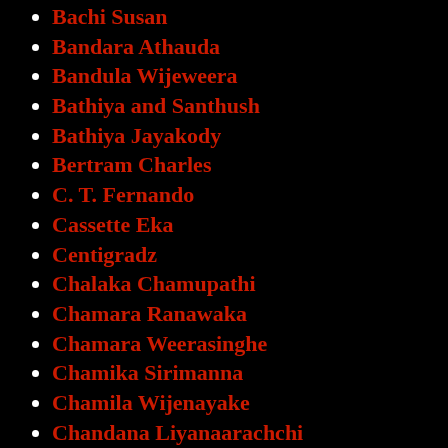Bachi Susan
Bandara Athauda
Bandula Wijeweera
Bathiya and Santhush
Bathiya Jayakody
Bertram Charles
C. T. Fernando
Cassette Eka
Centigradz
Chalaka Chamupathi
Chamara Ranawaka
Chamara Weerasinghe
Chamika Sirimanna
Chamila Wijenayake
Chandana Liyanaarachchi
Chandimal & The 2nd Connection
Chandulal R...